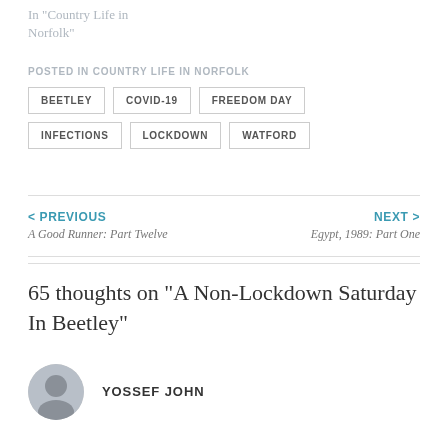In "Country Life in Norfolk"
POSTED IN COUNTRY LIFE IN NORFOLK
BEETLEY
COVID-19
FREEDOM DAY
INFECTIONS
LOCKDOWN
WATFORD
< PREVIOUS
A Good Runner: Part Twelve
NEXT >
Egypt, 1989: Part One
65 thoughts on "A Non-Lockdown Saturday In Beetley"
YOSSEF JOHN